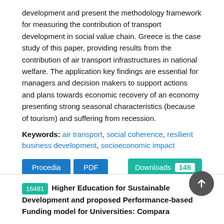development and present the methodology framework for measuring the contribution of transport development in social value chain. Greece is the case study of this paper, providing results from the contribution of air transport infrastructures in national welfare. The application key findings are essential for managers and decision makers to support actions and plans towards economic recovery of an economy presenting strong seasonal characteristics (because of tourism) and suffering from recession.
Keywords: air transport, social coherence, resilient business development, socioeconomic impact
Procedia | PDF | Downloads 146
16481 Higher Education for Sustainable Development and proposed Performance-based Funding model for Universities: Comparative Development of...